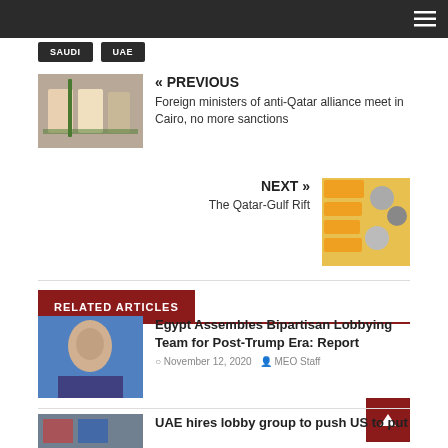SAUDI | UAE
« PREVIOUS
Foreign ministers of anti-Qatar alliance meet in Cairo, no more sanctions
NEXT »
The Qatar-Gulf Rift
RELATED ARTICLES
Egypt Assembles Bipartisan Lobbying Team for Post-Trump Era: Report
November 12, 2020 | MEO Staff
UAE hires lobby group to push US to put